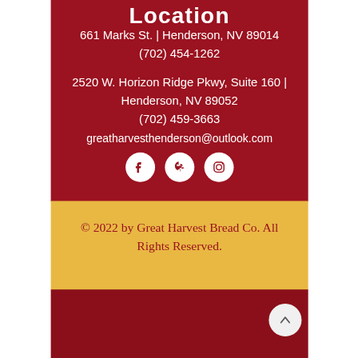Location
661 Marks St. | Henderson, NV 89014
(702) 454-1262
2520 W. Horizon Ridge Pkwy, Suite 160 | Henderson, NV 89052
(702) 459-3663
greatharvesthenderson@outlook.com
[Figure (illustration): Three social media icons: Facebook, Yelp, and Instagram, displayed as white circles with red icons on a red background]
© 2022 by Great Harvest Bread Co. All Rights Reserved.